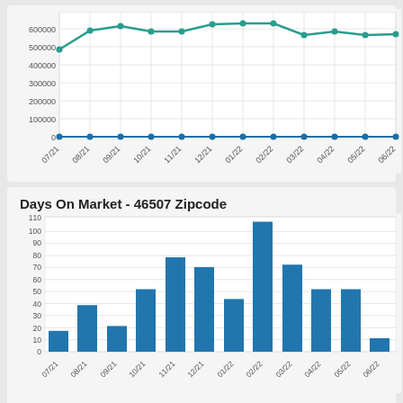[Figure (line-chart): Price line chart (partial)]
Days On Market - 46507 Zipcode
[Figure (bar-chart): Days On Market - 46507 Zipcode]